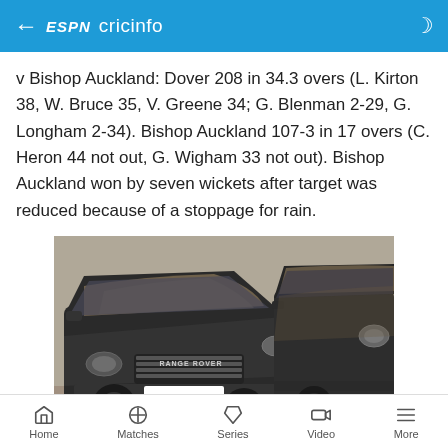ESPN cricinfo
v Bishop Auckland: Dover 208 in 34.3 overs (L. Kirton 38, W. Bruce 35, V. Greene 34; G. Blenman 2-29, G. Longham 2-34). Bishop Auckland 107-3 in 17 overs (C. Heron 44 not out, G. Wigham 33 not out). Bishop Auckland won by seven wickets after target was reduced because of a stoppage for rain.
[Figure (photo): Two muddy dark-colored Range Rover SUVs parked side by side, covered in dirt and debris, viewed from the front at an angle.]
Home  Matches  Series  Video  More